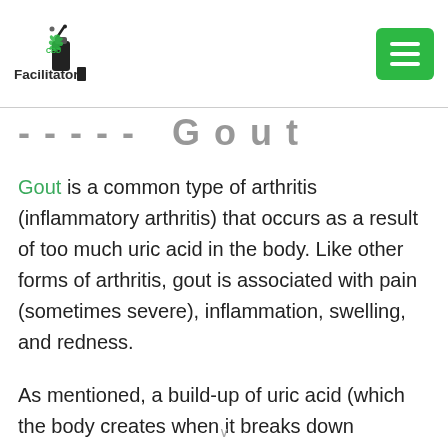CBD Facilitator [logo] [hamburger menu]
...Article: Gout
Gout is a common type of arthritis (inflammatory arthritis) that occurs as a result of too much uric acid in the body. Like other forms of arthritis, gout is associated with pain (sometimes severe), inflammation, swelling, and redness.
As mentioned, a build-up of uric acid (which the body creates when it breaks down purines, often found in the foods we eat) is responsible for the development